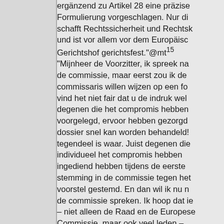ergänzend zu Artikel 28 eine präzise Formulierung vorgeschlagen. Nur di schafft Rechtssicherheit und Rechtsk und ist vor allem vor dem Europäisc Gerichtshof gerichtsfest."@mt¹⁵ "Mijnheer de Voorzitter, ik spreek na de commissie, maar eerst zou ik de commissaris willen wijzen op een fo vind het niet fair dat u de indruk wel degenen die het compromis hebben voorgelegd, ervoor hebben gezorgd dossier snel kan worden behandeld! tegendeel is waar. Juist degenen die individueel het compromis hebben ingediend hebben tijdens de eerste stemming in de commissie tegen het voorstel gestemd. En dan wil ik nu n de commissie spreken. Ik hoop dat ie – niet alleen de Raad en de Europese Commissie, maar ook veel leden – aanvaardt dat de parlementaire comm op basis van het reglement een zeer vooraanstaande rol speelt bij de beh van ethische vraagstukken. Ik hoop d niemand in het Parlement wil ontker